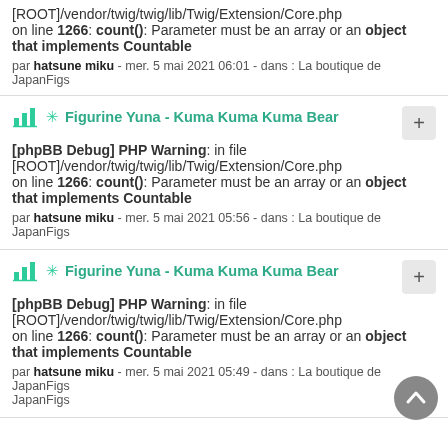[ROOT]/vendor/twig/twig/lib/Twig/Extension/Core.php on line 1266: count(): Parameter must be an array or an object that implements Countable
par hatsune miku - mer. 5 mai 2021 06:01 - dans : La boutique de JapanFigs
✳ Figurine Yuna - Kuma Kuma Kuma Bear [phpBB Debug] PHP Warning: in file [ROOT]/vendor/twig/twig/lib/Twig/Extension/Core.php on line 1266: count(): Parameter must be an array or an object that implements Countable
par hatsune miku - mer. 5 mai 2021 05:56 - dans : La boutique de JapanFigs
✳ Figurine Yuna - Kuma Kuma Kuma Bear [phpBB Debug] PHP Warning: in file [ROOT]/vendor/twig/twig/lib/Twig/Extension/Core.php on line 1266: count(): Parameter must be an array or an object that implements Countable
par hatsune miku - mer. 5 mai 2021 05:49 - dans : La boutique de JapanFigs